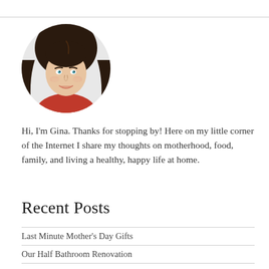[Figure (photo): Circular portrait photo of a young woman with long dark hair, wearing a red top, smiling at the camera against a white background.]
Hi, I'm Gina. Thanks for stopping by! Here on my little corner of the Internet I share my thoughts on motherhood, food, family, and living a healthy, happy life at home.
Recent Posts
Last Minute Mother's Day Gifts
Our Half Bathroom Renovation